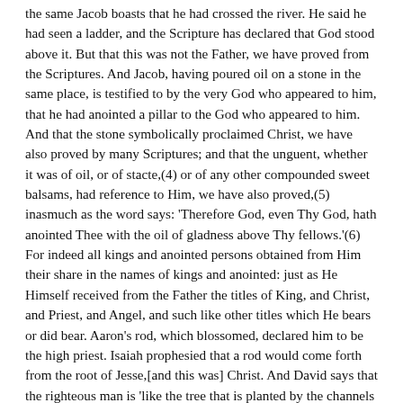the same Jacob boasts that he had crossed the river. He said he had seen a ladder, and the Scripture has declared that God stood above it. But that this was not the Father, we have proved from the Scriptures. And Jacob, having poured oil on a stone in the same place, is testified to by the very God who appeared to him, that he had anointed a pillar to the God who appeared to him. And that the stone symbolically proclaimed Christ, we have also proved by many Scriptures; and that the unguent, whether it was of oil, or of stacte,(4) or of any other compounded sweet balsams, had reference to Him, we have also proved,(5) inasmuch as the word says: 'Therefore God, even Thy God, hath anointed Thee with the oil of gladness above Thy fellows.'(6) For indeed all kings and anointed persons obtained from Him their share in the names of kings and anointed: just as He Himself received from the Father the titles of King, and Christ, and Priest, and Angel, and such like other titles which He bears or did bear. Aaron's rod, which blossomed, declared him to be the high priest. Isaiah prophesied that a rod would come forth from the root of Jesse,[and this was] Christ. And David says that the righteous man is 'like the tree that is planted by the channels of waters, which should yield its fruit in its season, and whose leaf should